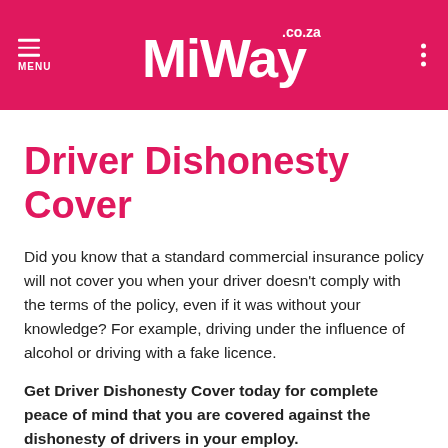MiWay.co.za — MENU
Driver Dishonesty Cover
Did you know that a standard commercial insurance policy will not cover you when your driver doesn't comply with the terms of the policy, even if it was without your knowledge? For example, driving under the influence of alcohol or driving with a fake licence.
Get Driver Dishonesty Cover today for complete peace of mind that you are covered against the dishonesty of drivers in your employ.
MiWay Business Insurance Driver Dishonesty Cover will cover you